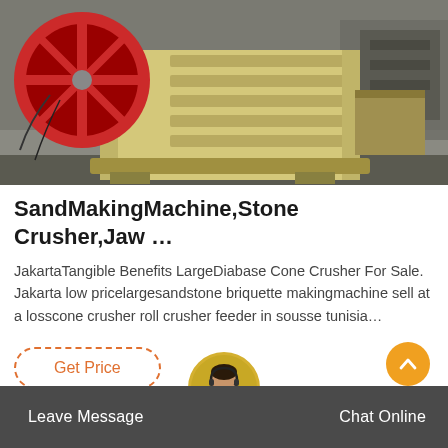[Figure (photo): Industrial jaw crusher / stone crushing machine, painted yellow, with a large red flywheel visible on the left side, sitting in an industrial yard or workshop]
SandMakingMachine,Stone Crusher,Jaw …
JakartaTangible Benefits LargeDiabase Cone Crusher For Sale. Jakarta low pricelargesandstone briquette makingmachine sell at a losscone crusher roll crusher feeder in sousse tunisia…
Get Price
Leave Message
Chat Online